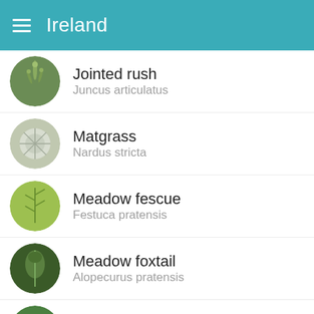Ireland
Jointed rush
Juncus articulatus
Matgrass
Nardus stricta
Meadow fescue
Festuca pratensis
Meadow foxtail
Alopecurus pratensis
Mouse-ear chickweed
Cerastium fontanum
Narrowleaf plantain
Plantago lanceolata
Perennial ryegrass